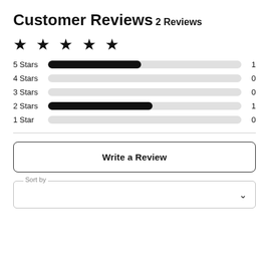Customer Reviews
2 Reviews
[Figure (other): Five filled black star icons representing a 5-star rating]
[Figure (bar-chart): Star rating distribution]
Write a Review
Sort by